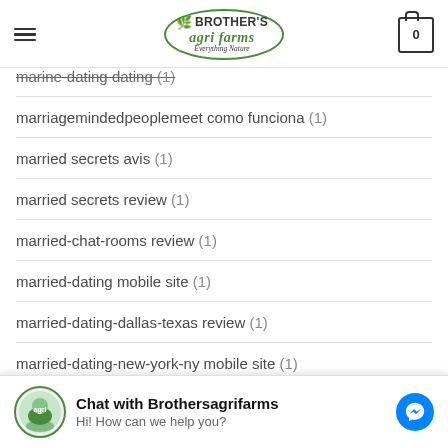Brother's Agri Farms - Everything Nature
marine-dating dating (1)
marriagemindedpeoplemeet como funciona (1)
married secrets avis (1)
married secrets review (1)
married-chat-rooms review (1)
married-dating mobile site (1)
married-dating-dallas-texas review (1)
married-dating-new-york-ny mobile site (1)
Chat with Brothersagrifarms
Hi! How can we help you?